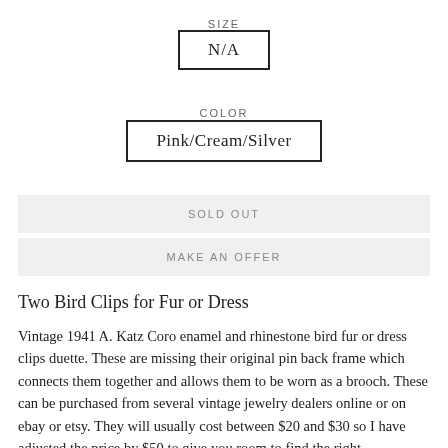SIZE
N/A
COLOR
Pink/Cream/Silver
SOLD OUT
MAKE AN OFFER
Two Bird Clips for Fur or Dress
Vintage 1941 A. Katz Coro enamel and rhinestone bird fur or dress clips duette.  These are missing their original pin back frame which connects them together and allows them to be worn as a brooch. These can be purchased from several vintage jewelry dealers online or on ebay or etsy. They will usually cost between $20 and $30 so I have adjusted the price by $50 to give you room to find the right